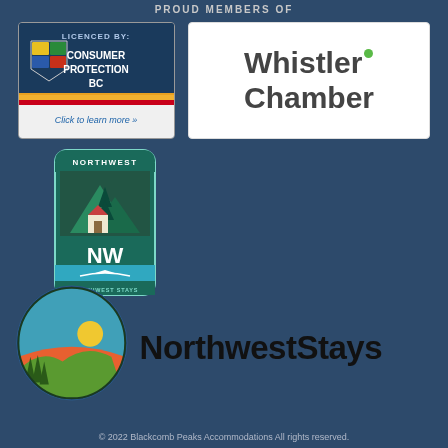PROUD MEMBERS OF
[Figure (logo): Consumer Protection BC licence badge with shield logo, dark blue background, text 'LICENCED BY: CONSUMER PROTECTION BC', and 'Click to learn more »']
[Figure (logo): Whistler Chamber logo on white background with large grey text 'Whistler Chamber' and a green dot above the r in Whistler]
[Figure (logo): Northwest Stays circular badge logo with green and teal colors, pine tree and house imagery, 'NW' lettering, on dark blue background]
[Figure (logo): NorthwestStays logo with colorful circular icon (teal, orange, green landscape) and bold black text 'NorthwestStays']
© 2022 Blackcomb Peaks Accommodations All rights reserved.